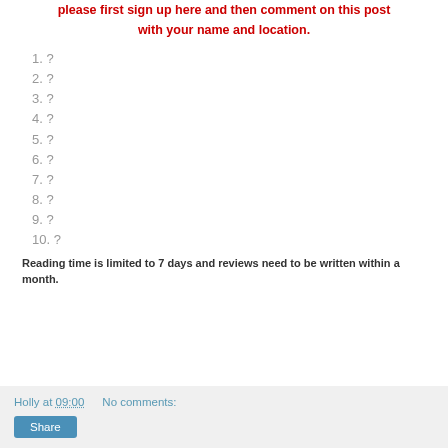please first sign up here and then comment on this post with your name and location.
1. ?
2. ?
3. ?
4. ?
5. ?
6. ?
7. ?
8. ?
9. ?
10. ?
Reading time is limited to 7 days and reviews need to be written within a month.
Holly at 09:00   No comments:   Share